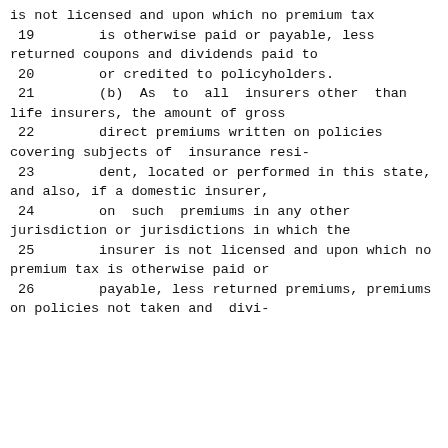is not licensed and upon which no premium tax
 19        is otherwise paid or payable, less returned coupons and dividends paid to
 20        or credited to policyholders.
 21        (b)  As  to  all  insurers other  than life insurers, the amount of gross
 22        direct premiums written on policies covering subjects of  insurance resi-
 23        dent, located or performed in this state, and also, if a domestic insurer,
 24        on  such  premiums in any other jurisdiction or jurisdictions in which the
 25        insurer is not licensed and upon which no premium tax is otherwise paid or
 26        payable, less returned premiums, premiums on policies not taken and  divi-